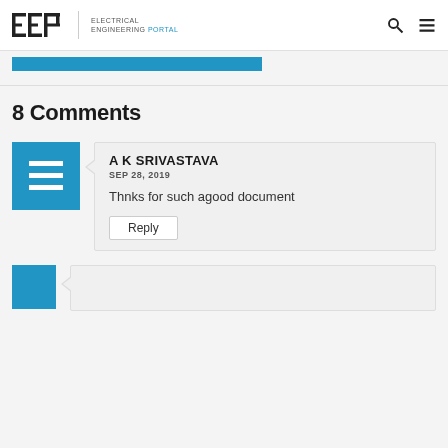EEP | ELECTRICAL ENGINEERING PORTAL
8 Comments
A K SRIVASTAVA
SEP 28, 2019
Thnks for such agood document
Reply